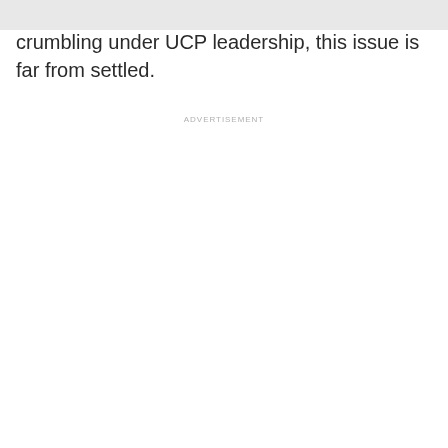crumbling under UCP leadership, this issue is far from settled.
ADVERTISEMENT